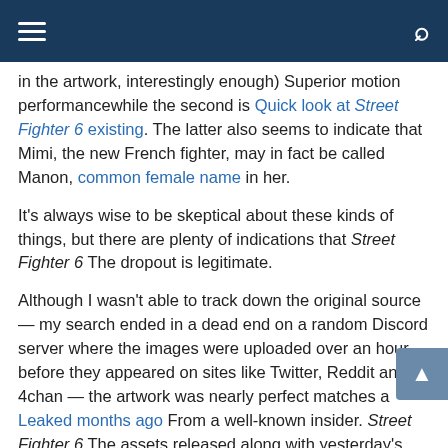in the artwork, interestingly enough) Superior motion performancewhile the second is Quick look at Street Fighter 6 existing. The latter also seems to indicate that Mimi, the new French fighter, may in fact be called Manon, common female name in her.
It's always wise to be skeptical about these kinds of things, but there are plenty of indications that Street Fighter 6 The dropout is legitimate.
Although I wasn't able to track down the original source — my search ended in a dead end on a random Discord server where the images were uploaded over an hour before they appeared on sites like Twitter, Reddit and 4chan — the artwork was nearly perfect matches a Leaked months ago From a well-known insider. Street Fighter 6 The assets released along with yesterday's preview suggest there are many such characters in the game, from obvious choices like Cammy and Guile to pre-leak secrets Kimberly and Marisa.